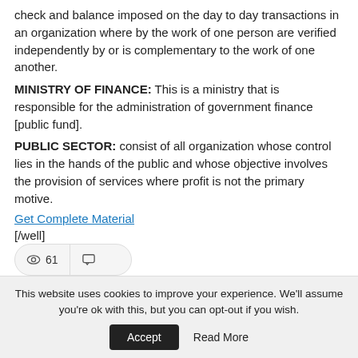check and balance imposed on the day to day transactions in an organization where by the work of one person are verified independently by or is complementary to the work of one another.
MINISTRY OF FINANCE: This is a ministry that is responsible for the administration of government finance [public fund].
PUBLIC SECTOR: consist of all organization whose control lies in the hands of the public and whose objective involves the provision of services where profit is not the primary motive.
Get Complete Material
[/well]
[Figure (other): Stats bar showing 61 views and comment icon, followed by share buttons: Share, Facebook, Twitter, Google+, and save button]
This website uses cookies to improve your experience. We'll assume you're ok with this, but you can opt-out if you wish.
Accept   Read More